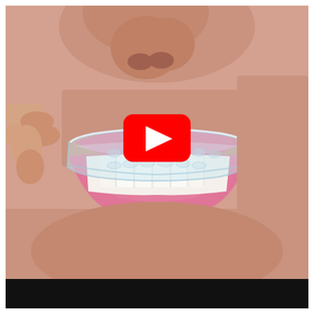[Figure (photo): Close-up photo of a person inserting a clear dental aligner/retainer into their mouth. The person is smiling, showing white teeth. Fingers are holding the transparent tray. A YouTube play button overlay is centered on the image. A black bar appears at the bottom of the image area.]